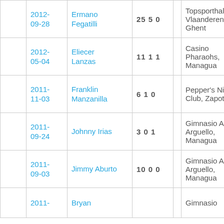|  | Date | Opponent | Score |  | Venue |
| --- | --- | --- | --- | --- | --- |
|  | 2012-09-28 | Ermano Fegatilli | 25 5 0 |  | Topsporthal Vlaanderen, Ghent |
|  | 2012-05-04 | Eliecer Lanzas | 11 1 1 |  | Casino Pharaohs, Managua |
|  | 2011-11-03 | Franklin Manzanilla | 6 1 0 |  | Pepper's Nigh Club, Zapote |
|  | 2011-09-24 | Johnny Irias | 3 0 1 |  | Gimnasio Alex Arguello, Managua |
|  | 2011-09-03 | Jimmy Aburto | 10 0 0 |  | Gimnasio Alex Arguello, Managua |
|  | 2011- | Bryan |  |  | Gimnasio |